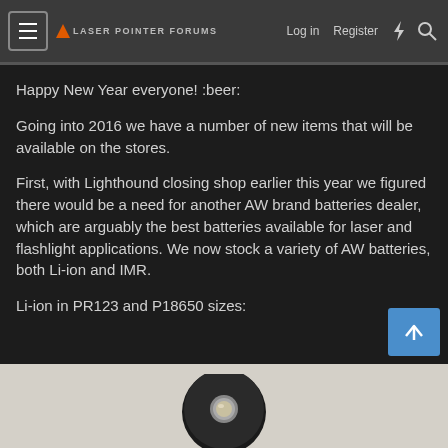Laser Pointer Forums — Log in  Register
Happy New Year everyone! :beer:
Going into 2016 we have a number of new items that will be available on the stores.
First, with Lighthound closing shop earlier this year we figured there would be a need for another AW brand batteries dealer, which are arguably the best batteries available for laser and flashlight applications. We now stock a variety of AW batteries, both Li-ion and IMR.
Li-ion in PR123 and P18650 sizes:
[Figure (photo): Photo of a battery (round black battery top visible) on a light marble/granite surface, partially cut off at the bottom of the page.]